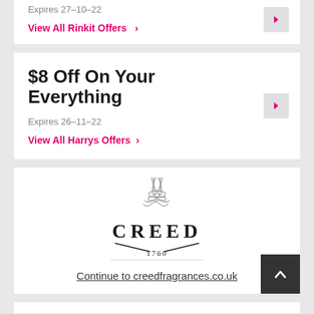Expires 27-10-22
View All Rinkit Offers >
$8 Off On Your Everything
Expires 26-11-22
View All Harrys Offers >
[Figure (logo): Creed 1760 fragrance brand logo with decorative crest above stylized text]
Continue to creedfragrances.co.uk